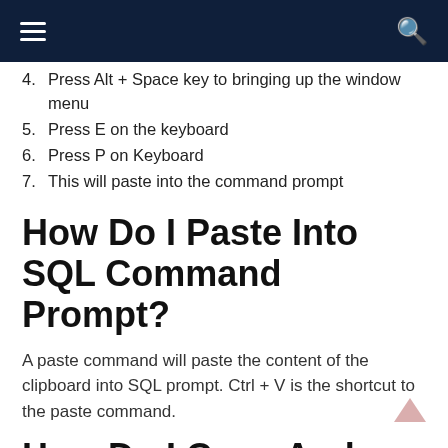Navigation bar with hamburger menu and search icon
4. Press Alt + Space key to bringing up the window menu
5. Press E on the keyboard
6. Press P on Keyboard
7. This will paste into the command prompt
How Do I Paste Into SQL Command Prompt?
A paste command will paste the content of the clipboard into SQL prompt. Ctrl + V is the shortcut to the paste command.
How Do I Copy And